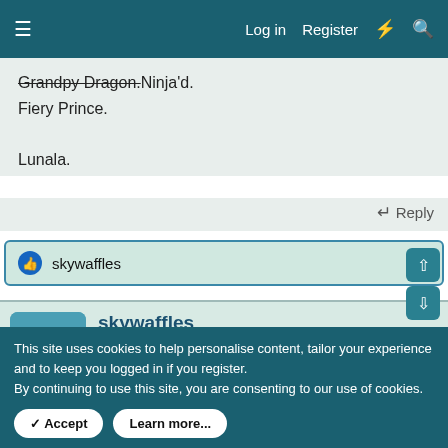≡  Log in  Register  ⚡  🔍
Grandpy Dragon. Ninja'd.
Fiery Prince.

Lunala.
↩ Reply
👍 skywaffles
skywaffles
>:| 4 8 15 16 23 42
[Figure (illustration): Pixel art badges: GROOKEY FAN (green badge with Grookey sprite) and FUECOCO FAN (orange/yellow badge with Fuecoco sprite)]
This site uses cookies to help personalise content, tailor your experience and to keep you logged in if you register.
By continuing to use this site, you are consenting to our use of cookies.
✓ Accept   Learn more...